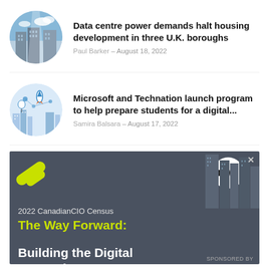[Figure (photo): Circular thumbnail of data centre buildings with blue sky]
Data centre power demands halt housing development in three U.K. boroughs
Paul Barker – August 18, 2022
[Figure (illustration): Circular thumbnail of digital/tech illustration with rocket, buildings, and tech icons]
Microsoft and Technation launch program to help prepare students for a digital...
Samira Balsara – August 17, 2022
[Figure (infographic): Advertisement banner: 2022 CanadianCIO Census – The Way Forward: Building the Digital Enterprise, sponsored by ITWC]